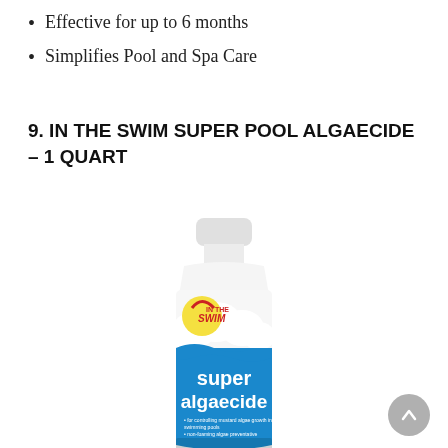Effective for up to 6 months
Simplifies Pool and Spa Care
9. IN THE SWIM SUPER POOL ALGAECIDE – 1 QUART
[Figure (photo): A white plastic bottle of 'In The Swim Super Algaecide' pool chemical product, 1 quart size, with a blue label showing the In The Swim logo and the text 'super algaecide'.]